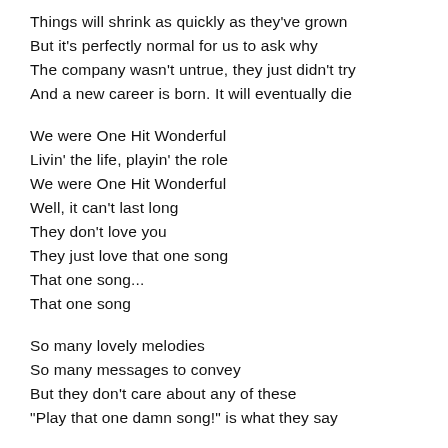Things will shrink as quickly as they've grown
But it's perfectly normal for us to ask why
The company wasn't untrue, they just didn't try
And a new career is born. It will eventually die
We were One Hit Wonderful
Livin' the life, playin' the role
We were One Hit Wonderful
Well, it can't last long
They don't love you
They just love that one song
That one song...
That one song
So many lovely melodies
So many messages to convey
But they don't care about any of these
"Play that one damn song!" is what they say